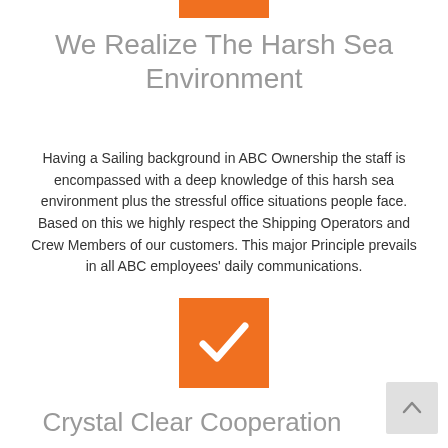[Figure (other): Small orange horizontal bar at the top center of the page, used as a decorative separator.]
We Realize The Harsh Sea Environment
Having a Sailing background in ABC Ownership the staff is encompassed with a deep knowledge of this harsh sea environment plus the stressful office situations people face. Based on this we highly respect the Shipping Operators and Crew Members of our customers. This major Principle prevails in all ABC employees' daily communications.
[Figure (illustration): Orange square icon with a white checkmark symbol centered inside.]
Crystal Clear Cooperation